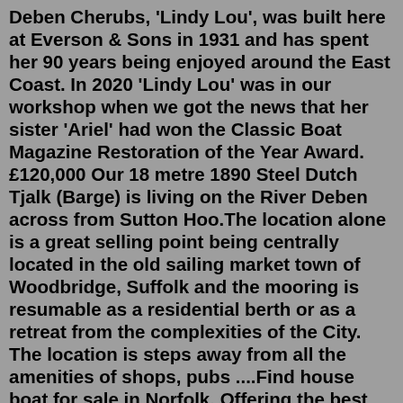Deben Cherubs, 'Lindy Lou', was built here at Everson & Sons in 1931 and has spent her 90 years being enjoyed around the East Coast. In 2020 'Lindy Lou' was in our workshop when we got the news that her sister 'Ariel' had won the Classic Boat Magazine Restoration of the Year Award. £120,000 Our 18 metre 1890 Steel Dutch Tjalk (Barge) is living on the River Deben across from Sutton Hoo.The location alone is a great selling point being centrally located in the old sailing market town of Woodbridge, Suffolk and the mooring is resumable as a residential berth or as a retreat from the complexities of the City. The location is steps away from all the amenities of shops, pubs ....Find house boat for sale in Norfolk. Offering the best selection of boats to choose from.Apr 13, 2022 · New and Used Barges for Sale . Damco Marine has tank barges , hopper barges , spud barges and deck barges for sale for transporting materials across inland waterways as well as offshore. We have over 84 barges as old as 1954 and built as recently as 2022, we've got the right barge for your needs. Jun 12, 2021